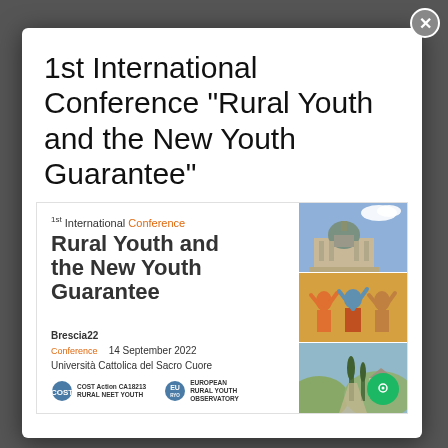1st International Conference "Rural Youth and the New Youth Guarantee"
[Figure (illustration): Conference banner for 1st International Conference on Rural Youth and the New Youth Guarantee, held at Brescia22 Conference, 14 September 2022, Università Cattolica del Sacro Cuore. Features logos of COST Action CA18213 Rural NEET Youth and European Rural Youth Observatory (EURYO). Right side shows three photos: a cathedral building, a group of youth celebrating, and a rural landscape.]